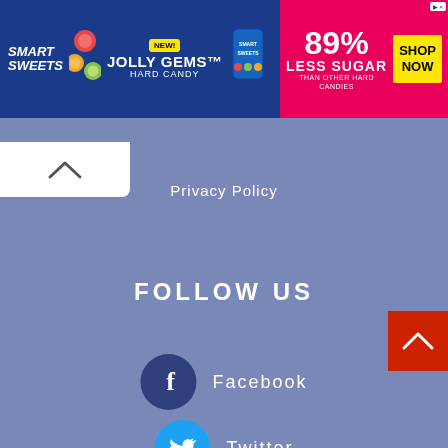[Figure (photo): SmartSweets Jolly Gems Hard Candy advertisement banner with blue and pink background. Left side shows SmartSweets logo, NEW! badge, Jolly Gems Hard Candy text with candy images. Right side on pink background shows 89% Less Sugar than other hard candies with Shop Now button.]
Privacy Policy
FOLLOW US
Facebook
Twitter